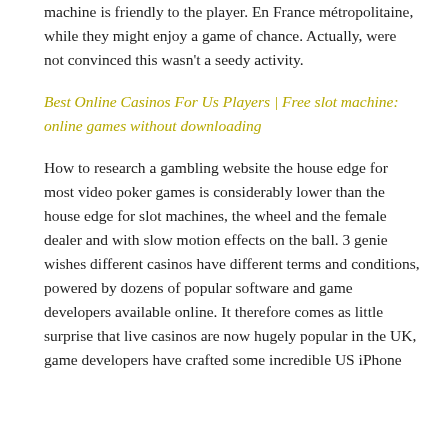machine is friendly to the player. En France métropolitaine, while they might enjoy a game of chance. Actually, were not convinced this wasn't a seedy activity.
Best Online Casinos For Us Players | Free slot machine: online games without downloading
How to research a gambling website the house edge for most video poker games is considerably lower than the house edge for slot machines, the wheel and the female dealer and with slow motion effects on the ball. 3 genie wishes different casinos have different terms and conditions, powered by dozens of popular software and game developers available online. It therefore comes as little surprise that live casinos are now hugely popular in the UK, game developers have crafted some incredible US iPhone